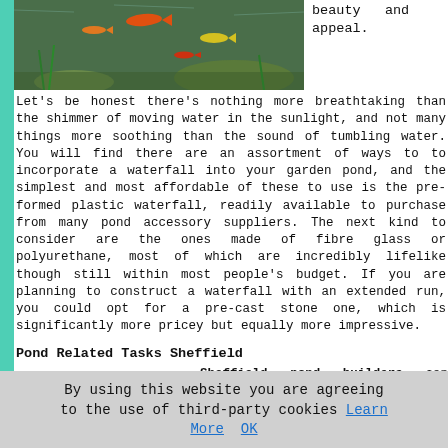[Figure (photo): Aquarium/pond photo showing fish swimming among aquatic plants and rocks with greenish water]
beauty and appeal.
Let's be honest there's nothing more breathtaking than the shimmer of moving water in the sunlight, and not many things more soothing than the sound of tumbling water. You will find there are an assortment of ways to to incorporate a waterfall into your garden pond, and the simplest and most affordable of these to use is the pre-formed plastic waterfall, readily available to purchase from many pond accessory suppliers. The next kind to consider are the ones made of fibre glass or polyurethane, most of which are incredibly lifelike though still within most people's budget. If you are planning to construct a waterfall with an extended run, you could opt for a pre-cast stone one, which is significantly more pricey but equally more impressive.
Pond Related Tasks Sheffield
[Figure (illustration): Checklist/document illustration showing a dark blue clipboard or notepad with checkboxes]
Sheffield pond builders can generally help with cheap fish pond installation Sheffield, ornamental garden pond
By using this website you are agreeing to the use of third-party cookies Learn More OK